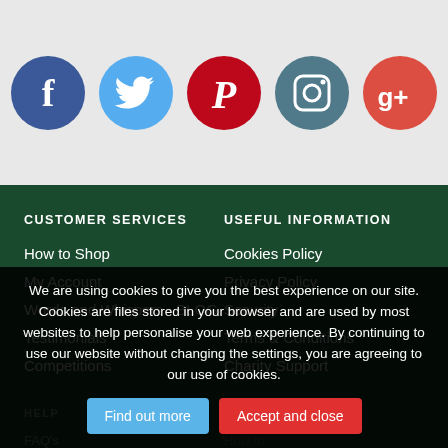[Figure (illustration): Row of five social media icons: Facebook (blue circle, f), Twitter (light blue circle, bird), Pinterest (red circle, P), Instagram (teal circle, camera), Google+ (red-orange circle, g+)]
CUSTOMER SERVICES
How to Shop
My Account
Words and Whispers - BLOG
Testimonials
Competitions
USEFUL INFORMATION
Cookies Policy
Privacy Policy
Security
Terms & Conditions
Charity Support
HELP
FAQ's
Size Guide
Site Map
Forgotten Password
DRESS AGENCY
We are using cookies to give you the best experience on our site. Cookies are files stored in your browser and are used by most websites to help personalise your web experience. By continuing to use our website without changing the settings, you are agreeing to our use of cookies.
Find out more | Accept and close